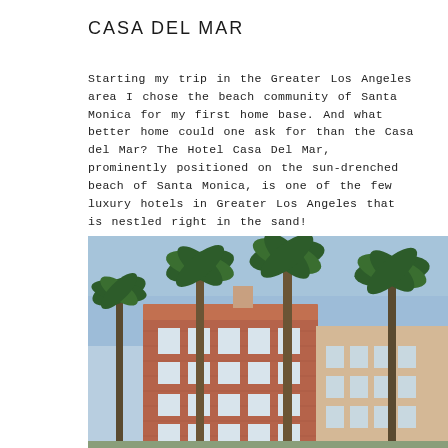CASA DEL MAR
Starting my trip in the Greater Los Angeles area I chose the beach community of Santa Monica for my first home base. And what better home could one ask for than the Casa del Mar? The Hotel Casa Del Mar, prominently positioned on the sun-drenched beach of Santa Monica, is one of the few luxury hotels in Greater Los Angeles that is nestled right in the sand!
[Figure (photo): Exterior of Hotel Casa Del Mar, a large brick building with arched windows and a terracotta roof, framed by tall palm trees against a blue sky.]